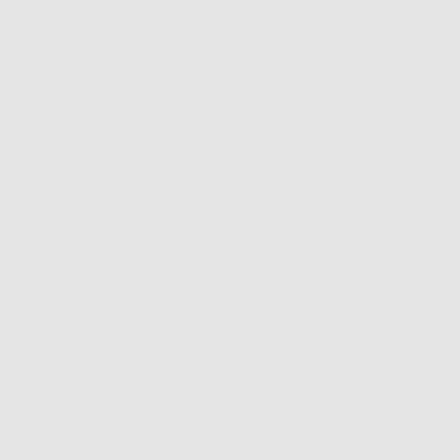[Figure (photo): Chess pieces on a board — book cover image, partially visible at top]
Whe
BISA
Hard
Web
12.
[Figure (photo): Book cover: THE PRISM OF RACE — The Politics and Ideology of Affirmative Action in Brazil by David Lehmann. Teal and rustic texture background.]
The
The
Dav
How raci
BISA
Hard
Ebo
13.
[Figure (photo): Book cover: ANGRY — with text 'Global Resentment and Emotion in the Digital Age']
Ang
Glo